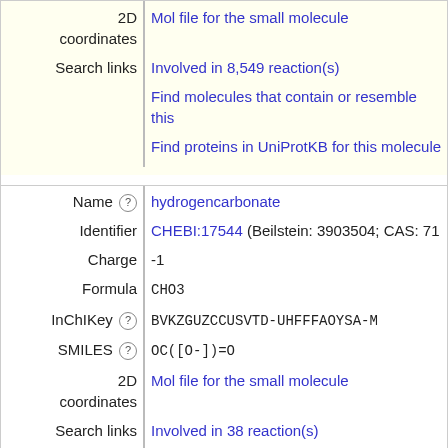| Field | Value |
| --- | --- |
| 2D coordinates | Mol file for the small molecule |
| Search links | Involved in 8,549 reaction(s) |
|  | Find molecules that contain or resemble this |
|  | Find proteins in UniProtKB for this molecule |
| Field | Value |
| --- | --- |
| Name | hydrogencarbonate |
| Identifier | CHEBI:17544 (Beilstein: 3903504; CAS: 71... |
| Charge | -1 |
| Formula | CHO3 |
| InChIKey | BVKZGUZCCUSVTD-UHFFFAOYSA-M |
| SMILES | OC([O-])=O |
| 2D coordinates | Mol file for the small molecule |
| Search links | Involved in 38 reaction(s) |
|  | Find molecules that contain or resemble this |
|  | Find proteins in UniProtKB for this molecule |